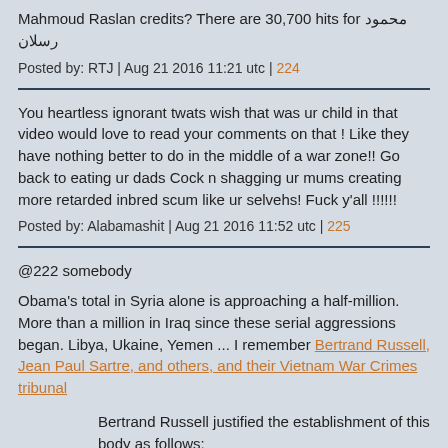Mahmoud Raslan credits? There are 30,700 hits for محمود رسلان
Posted by: RTJ | Aug 21 2016 11:21 utc | 224
You heartless ignorant twats wish that was ur child in that video would love to read your comments on that ! Like they have nothing better to do in the middle of a war zone!! Go back to eating ur dads Cock n shagging ur mums creating more retarded inbred scum like ur selvehs! Fuck y'all !!!!!!
Posted by: Alabamashit | Aug 21 2016 11:52 utc | 225
@222 somebody
Obama's total in Syria alone is approaching a half-million. More than a million in Iraq since these serial aggressions began. Libya, Ukaine, Yemen ... I remember Bertrand Russell, Jean Paul Sartre, and others, and their Vietnam War Crimes tribunal
Bertrand Russell justified the establishment of this body as follows:
If certain acts and violations of treaties are crimes